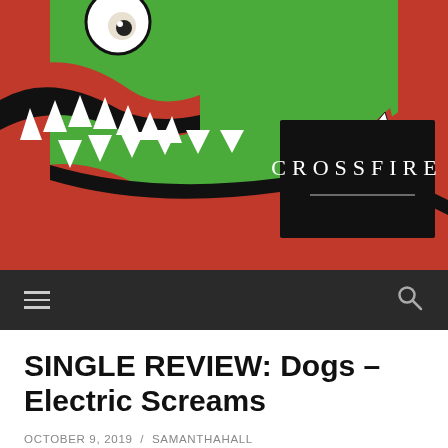[Figure (illustration): Crossfire magazine website header showing a cartoon shark/monster with open jaws in red, black and white on a green background. A black rectangle overlay in the center contains the text 'CROSSFIRE' in white spaced capital letters with a horizontal line beneath.]
≡    🔍
SINGLE REVIEW: Dogs – Electric Screams
OCTOBER 9, 2019 / SAMANTHAHALL